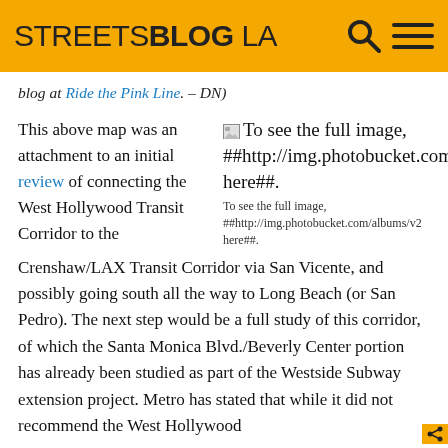STREETSBLOG LA
blog at Ride the Pink Line. – DN)
This above map was an attachment to an initial review of connecting the West Hollywood Transit Corridor to the Crenshaw/LAX Transit Corridor via San Vicente, and possibly going south all the way to Long Beach (or San Pedro). The next step would be a full study of this corridor, of which the Santa Monica Blvd./Beverly Center portion has already been studied as part of the Westside Subway extension project. Metro has stated that while it did not recommend the West Hollywood
[Figure (screenshot): Broken image placeholder with alt text 'To see the full image, ##http://img.photobucket.com/ here##.' and caption below repeating the same text]
To see the full image, ##http://img.photobucket.com/albums/v2 here##.